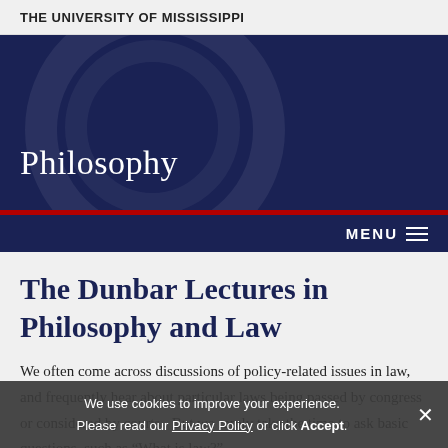THE UNIVERSITY OF MISSISSIPPI
Philosophy
MENU
The Dunbar Lectures in Philosophy and Law
We often come across discussions of policy-related issues in law, and frequently hear about particular laws being passed by congress or considered by courts.  But we rarely take the time to ask basic questions, such as “What is law?”
We use cookies to improve your experience. Please read our Privacy Policy or click Accept.